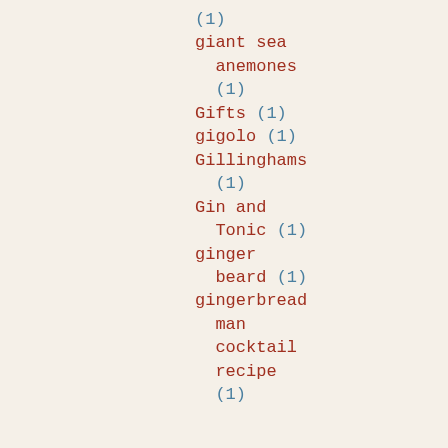(1)
giant sea anemones (1)
Gifts (1)
gigolo (1)
Gillinghams (1)
Gin and Tonic (1)
ginger beard (1)
gingerbread man cocktail recipe (1)